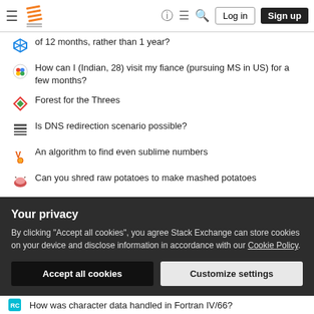Stack Exchange navigation with hamburger menu, logo, help, chat, search, Log in, Sign up buttons
of 12 months, rather than 1 year?
How can I (Indian, 28) visit my fiance (pursuing MS in US) for a few months?
Forest for the Threes
Is DNS redirection scenario possible?
An algorithm to find even sublime numbers
Can you shred raw potatoes to make mashed potatoes
If someone instigates the end of a relationship, what is the term for the other party?
Why can't the half-life be determined in a reaction with more than one reactant?
Your privacy
By clicking "Accept all cookies", you agree Stack Exchange can store cookies on your device and disclose information in accordance with our Cookie Policy.
Accept all cookies   Customize settings
How was character data handled in Fortran IV/66?